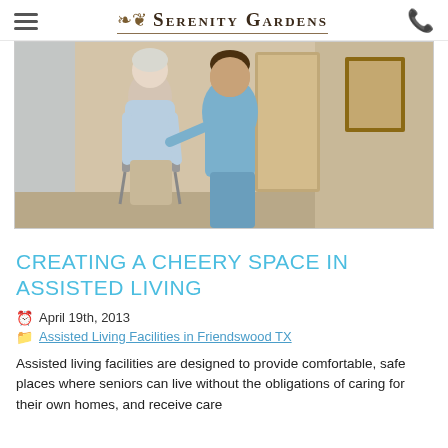Serenity Gardens
[Figure (photo): An elderly woman using a walker being assisted by a female caregiver in blue scrubs in an indoor setting.]
CREATING A CHEERY SPACE IN ASSISTED LIVING
April 19th, 2013
Assisted Living Facilities in Friendswood TX
Assisted living facilities are designed to provide comfortable, safe places where seniors can live without the obligations of caring for their own homes, and receive care